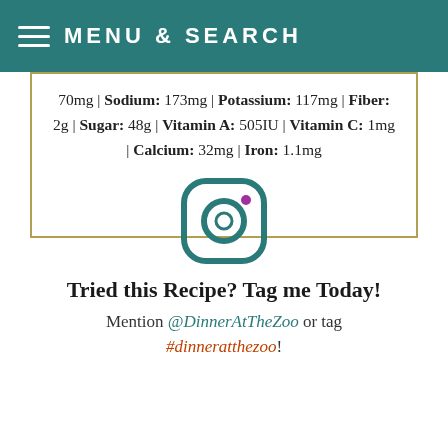MENU & SEARCH
70mg | Sodium: 173mg | Potassium: 117mg | Fiber: 2g | Sugar: 48g | Vitamin A: 505IU | Vitamin C: 1mg | Calcium: 32mg | Iron: 1.1mg
[Figure (logo): Instagram logo icon in teal color]
Tried this Recipe? Tag me Today! Mention @DinnerAtTheZoo or tag #dinneratthezoo!